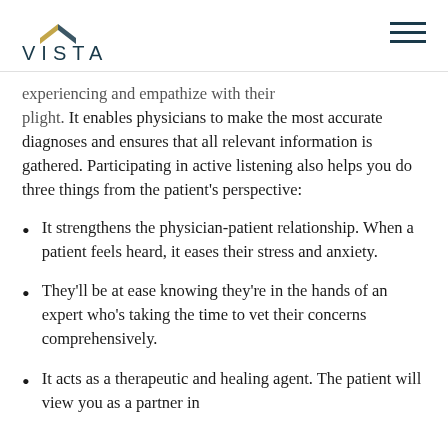VISTA
experiencing and empathize with their plight. It enables physicians to make the most accurate diagnoses and ensures that all relevant information is gathered. Participating in active listening also helps you do three things from the patient's perspective:
It strengthens the physician-patient relationship. When a patient feels heard, it eases their stress and anxiety.
They'll be at ease knowing they're in the hands of an expert who's taking the time to vet their concerns comprehensively.
It acts as a therapeutic and healing agent. The patient will view you as a partner in